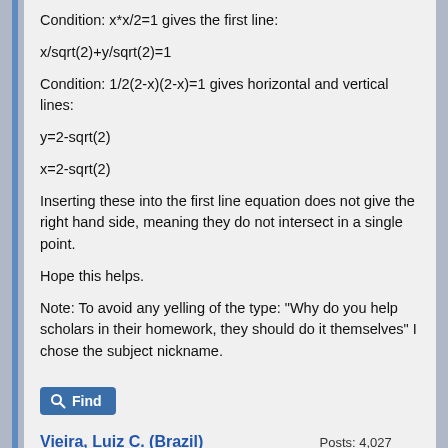Condition: x*x/2=1 gives the first line:
Condition: 1/2(2-x)(2-x)=1 gives horizontal and vertical lines:
Inserting these into the first line equation does not give the right hand side, meaning they do not intersect in a single point.
Hope this helps.
Note: To avoid any yelling of the type: "Why do you help scholars in their homework, they should do it themselves" I chose the subject nickname.
Vieira, Luiz C. (Brazil)
Posting Freak
Posts: 4,027
Threads: 172
Joined: Aug 2005